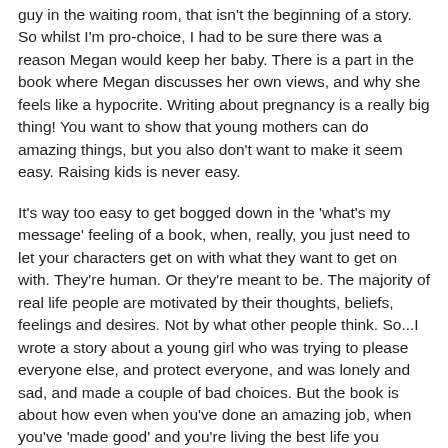guy in the waiting room, that isn't the beginning of a story. So whilst I'm pro-choice, I had to be sure there was a reason Megan would keep her baby. There is a part in the book where Megan discusses her own views, and why she feels like a hypocrite. Writing about pregnancy is a really big thing! You want to show that young mothers can do amazing things, but you also don't want to make it seem easy. Raising kids is never easy.
It's way too easy to get bogged down in the 'what's my message' feeling of a book, when, really, you just need to let your characters get on with what they want to get on with. They're human. Or they're meant to be. The majority of real life people are motivated by their thoughts, beliefs, feelings and desires. Not by what other people think. So...I wrote a story about a young girl who was trying to please everyone else, and protect everyone, and was lonely and sad, and made a couple of bad choices. But the book is about how even when you've done an amazing job, when you've 'made good' and you're living the best life you possibly can, you can still be scared that you'll be defined by that one mistake, even if it turned out to be a great decision.